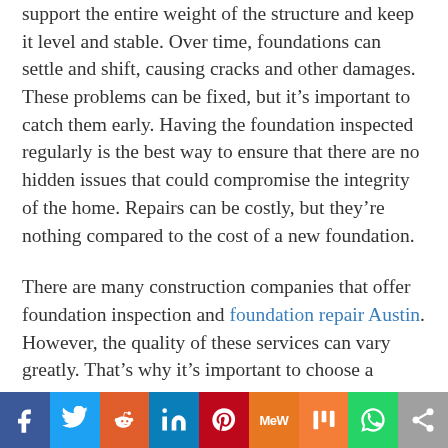support the entire weight of the structure and keep it level and stable. Over time, foundations can settle and shift, causing cracks and other damages. These problems can be fixed, but it’s important to catch them early. Having the foundation inspected regularly is the best way to ensure that there are no hidden issues that could compromise the integrity of the home. Repairs can be costly, but they’re nothing compared to the cost of a new foundation.
There are many construction companies that offer foundation inspection and foundation repair Austin. However, the quality of these services can vary greatly. That’s why it’s important to choose a
[Figure (infographic): Social media sharing bar with icons: Facebook, Twitter, Reddit, LinkedIn, Pinterest, MeWe, Mix, WhatsApp, Share]